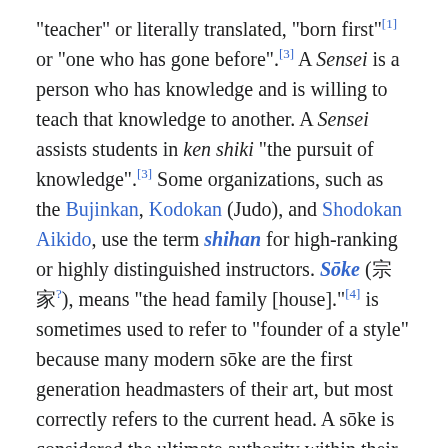"teacher" or literally translated, "born first"[1] or "one who has gone before".[3] A Sensei is a person who has knowledge and is willing to teach that knowledge to another. A Sensei assists students in ken shiki "the pursuit of knowledge".[3] Some organizations, such as the Bujinkan, Kodokan (Judo), and Shodokan Aikido, use the term shihan for high-ranking or highly distinguished instructors. Sōke (宗家?), means "the head family [house]."[4] is sometimes used to refer to "founder of a style" because many modern sōke are the first generation headmasters of their art, but most correctly refers to the current head. A sōke is considered the ultimate authority within their art and has the authority to issue a menkyo kaiden certificate indicating that someone has mastered all aspects of the style.[5]
Korea